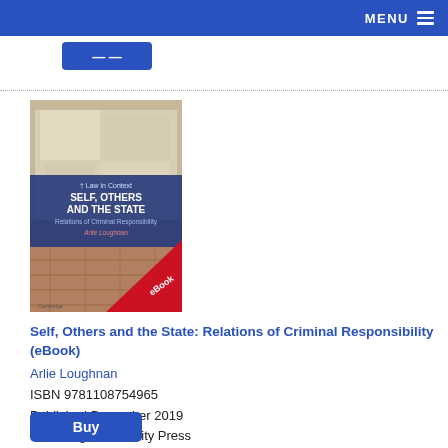MENU
[Figure (illustration): Book cover for 'Self, Others and the State: Relations of Criminal Responsibility' by Arlie Loughnan, published by Cambridge University Press. Cover shows a brick wall with peeling posters, with a dark blue title band and a red eBook banner in the bottom right corner.]
Self, Others and the State: Relations of Criminal Responsibility (eBook)
Arlie Loughnan
ISBN 9781108754965
Published December 2019
Cambridge University Press
£71.00
(ePub)